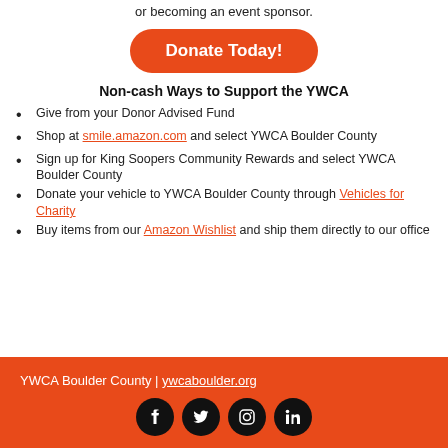or becoming an event sponsor.
Donate Today!
Non-cash Ways to Support the YWCA
Give from your Donor Advised Fund
Shop at smile.amazon.com and select YWCA Boulder County
Sign up for King Soopers Community Rewards and select YWCA Boulder County
Donate your vehicle to YWCA Boulder County through Vehicles for Charity
Buy items from our Amazon Wishlist and ship them directly to our office
YWCA Boulder County | ywcaboulder.org